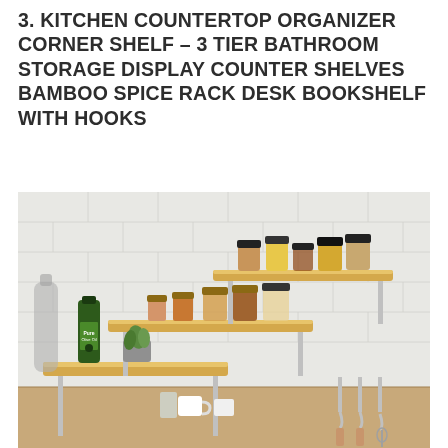3. KITCHEN COUNTERTOP ORGANIZER CORNER SHELF – 3 TIER BATHROOM STORAGE DISPLAY COUNTER SHELVES BAMBOO SPICE RACK DESK BOOKSHELF WITH HOOKS
[Figure (photo): Product photo of a 3-tier bamboo corner shelf organizer with chrome metal legs and hooks, displayed in a kitchen setting against white subway tile. The shelves hold spice jars, a bottle of olive oil, a small succulent plant, mugs, and kitchen utensils hanging from hooks on the side.]